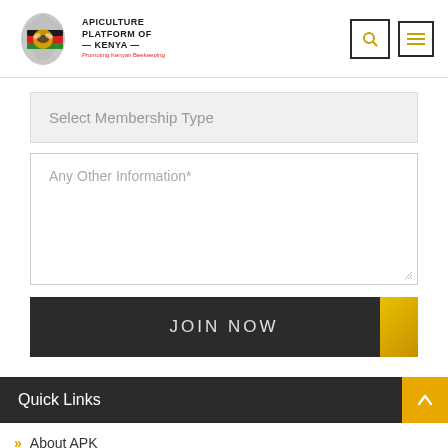[Figure (logo): Apiculture Platform of Kenya logo with Kenya map silhouette and bee imagery, text reads APICULTURE PLATFORM OF KENYA — Promoting Kenyan Beekeeping]
Select Membership Type
Any Other Information*
JOIN NOW
Quick Links
About APK